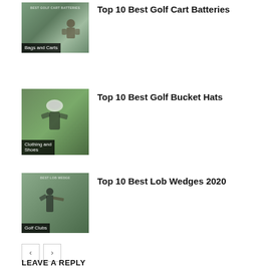[Figure (photo): Golf cart battery scene with players, labeled 'Bags and Carts']
Top 10 Best Golf Cart Batteries
[Figure (photo): Golfer in white hat swinging, labeled 'Clothing and Shoes']
Top 10 Best Golf Bucket Hats
[Figure (photo): Golfer hitting a lob wedge shot, labeled 'Golf Clubs']
Top 10 Best Lob Wedges 2020
< >  (pagination buttons)
LEAVE A REPLY
Comment: